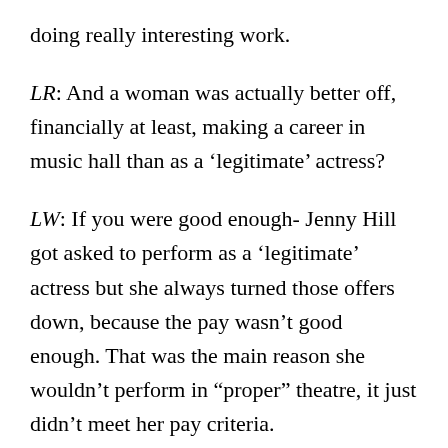doing really interesting work.
LR: And a woman was actually better off, financially at least, making a career in music hall than as a ‘legitimate’ actress?
LW: If you were good enough- Jenny Hill  got asked to perform as a ‘legitimate’ actress but she always turned those offers down, because the pay wasn’t good enough. That was the main reason she wouldn’t perform in “proper” theatre, it just didn’t meet her pay criteria.